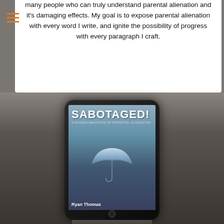many people who can truly understand parental alienation and it's damaging effects. My goal is to expose parental alienation with every word I write, and ignite the possibility of progress with every paragraph I craft.
[Figure (photo): A tablet/iPad displaying the book cover of 'SABOTAGED! 3 Hidden Weapons of Parental Alienation' by Ryan Thomas, showing an umbrella image on the cover]